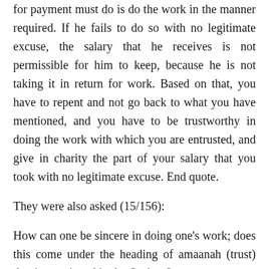for payment must do is do the work in the manner required. If he fails to do so with no legitimate excuse, the salary that he receives is not permissible for him to keep, because he is not taking it in return for work. Based on that, you have to repent and not go back to what you have mentioned, and you have to be trustworthy in doing the work with which you are entrusted, and give in charity the part of your salary that you took with no legitimate excuse. End quote.
They were also asked (15/156):
How can one be sincere in doing one’s work; does this come under the heading of amaanah (trust) that is mentioned in the Qur’aan?
The reply is: